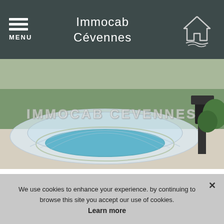MENU | Immocab Cévennes
[Figure (photo): Aerial/ground view of a swimming pool with a transparent arch cover enclosure on a stone patio, surrounded by garden and trees]
IMMOCAB CEVENNES
409 000 €
[Figure (photo): Exterior view of a stone house with trees and blue sky, with a navigation arrow button overlay]
We use cookies to enhance your experience. by continuing to browse this site you accept our use of cookies.
Learn more